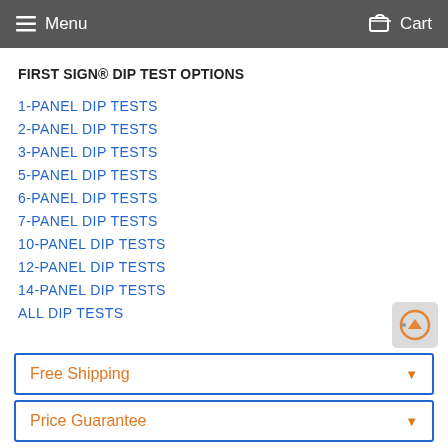Menu  Cart
FIRST SIGN® DIP TEST OPTIONS
1-PANEL DIP TESTS
2-PANEL DIP TESTS
3-PANEL DIP TESTS
5-PANEL DIP TESTS
6-PANEL DIP TESTS
7-PANEL DIP TESTS
10-PANEL DIP TESTS
12-PANEL DIP TESTS
14-PANEL DIP TESTS
ALL DIP TESTS
Free Shipping
Price Guarantee